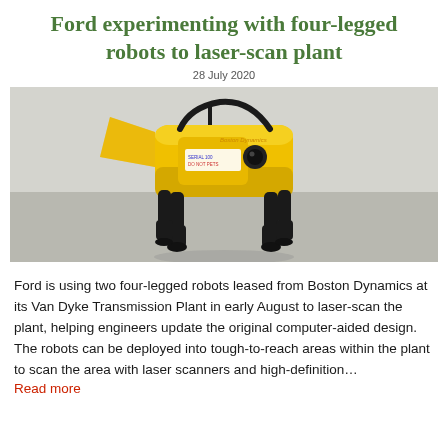Ford experimenting with four-legged robots to laser-scan plant
28 July 2020
[Figure (photo): Close-up photo of a Boston Dynamics Spot four-legged robot painted yellow with black legs, standing on a concrete floor. The robot has a Boston Dynamics logo on its body and a label reading 'SERIAL 100 / DO NOT PETS'.]
Ford is using two four-legged robots leased from Boston Dynamics at its Van Dyke Transmission Plant in early August to laser-scan the plant, helping engineers update the original computer-aided design. The robots can be deployed into tough-to-reach areas within the plant to scan the area with laser scanners and high-definition…
Read more